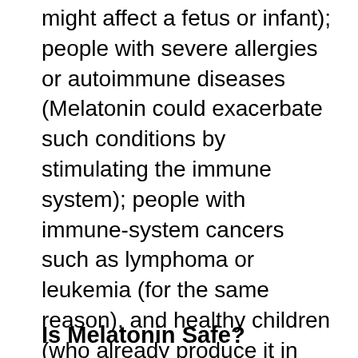might affect a fetus or infant); people with severe allergies or autoimmune diseases (Melatonin could exacerbate such conditions by stimulating the immune system); people with immune-system cancers such as lymphoma or leukemia (for the same reason), and healthy children (who already produce it in abundance). Women trying to conceive should also think twice about taking the hormone since high doses can act as a contraceptive." As with any substance introduced into your body, if you have a medical condition, you should always consult your physician first before taking Melatonin. *
Is Melatonin Safe?